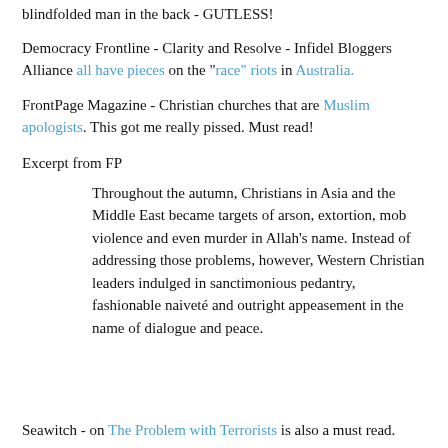blindfolded man in the back - GUTLESS!
Democracy Frontline - Clarity and Resolve - Infidel Bloggers Alliance all have pieces on the "race" riots in Australia.
FrontPage Magazine - Christian churches that are Muslim apologists. This got me really pissed. Must read!
Excerpt from FP
Throughout the autumn, Christians in Asia and the Middle East became targets of arson, extortion, mob violence and even murder in Allah’s name. Instead of addressing those problems, however, Western Christian leaders indulged in sanctimonious pedantry, fashionable naïveté and outright appeasement in the name of dialogue and peace.
Seawitch - on The Problem with Terrorists is also a must read.